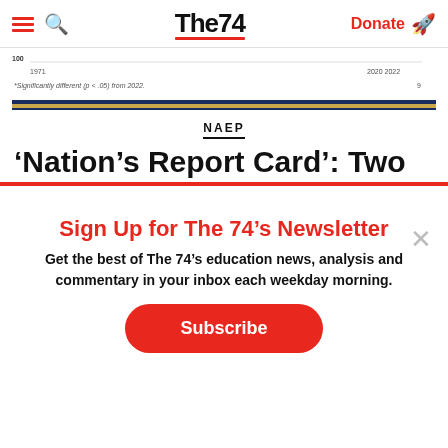The74 | Donate
[Figure (continuous-plot): Partial chart strip showing a line graph with years 1971 and 2020 2022 on x-axis, value 100 on y-axis, footnote: *Significantly different (p < .05) from 2022. Blue and gold color bar at bottom.]
NAEP
‘Nation’s Report Card’: Two
Sign Up for The 74’s Newsletter
Get the best of The 74’s education news, analysis and commentary in your inbox each weekday morning.
Subscribe